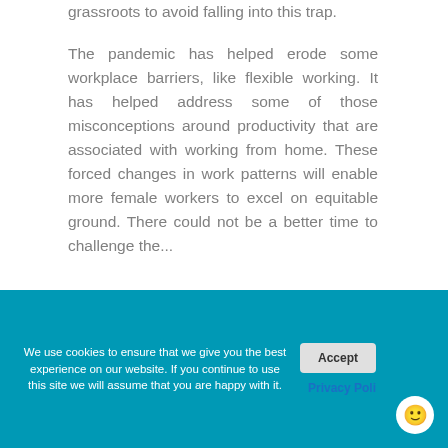grassroots to avoid falling into this trap.

The pandemic has helped erode some workplace barriers, like flexible working. It has helped address some of those misconceptions around productivity that are associated with working from home. These forced changes in work patterns will enable more female workers to excel on equitable ground. There could not be a better time to challenge the...
We use cookies to ensure that we give you the best experience on our website. If you continue to use this site we will assume that you are happy with it.